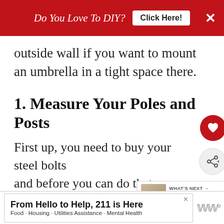Do You Love To DIY? | Click Here!
outside wall if you want to mount an umbrella in a tight space there.
1. Measure Your Poles and Posts
First up, you need to buy your steel bolts and before you can do that, you need to measure your umbrella pole and the post or deck railing you will be bolting th
[Figure (screenshot): What's Next widget showing thumbnail and link to 'How To Stain A Concrete...']
[Figure (infographic): Bottom advertisement: 'From Hello to Help, 211 is Here' with sub-text 'Food · Housing · Utilities Assistance · Mental Health']